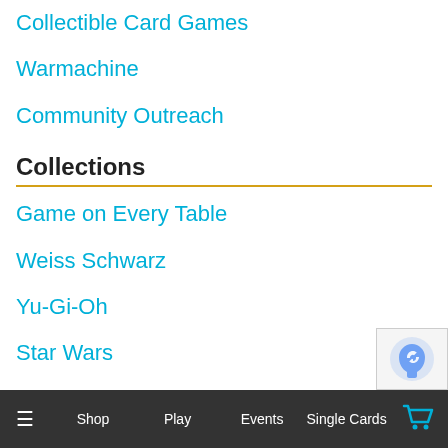Collectible Card Games
Warmachine
Community Outreach
Collections
Game on Every Table
Weiss Schwarz
Yu-Gi-Oh
Star Wars
Pokemon
Warhammer
Jigsaw Puzzles
Dice
≡   Shop   Play   Events   Single Cards   🛒